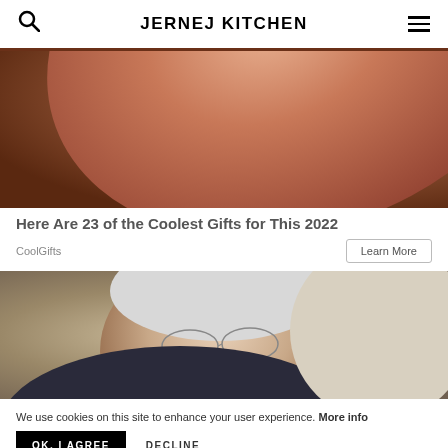JERNEJ KITCHEN
[Figure (photo): Close-up photo of a human finger/hand with skin texture visible, brownish warm tones]
Here Are 23 of the Coolest Gifts for This 2022
CoolGifts
[Figure (photo): Elderly man with white hair and glasses, eyes closed, resting or sleeping, wearing a plaid shirt]
We use cookies on this site to enhance your user experience. More info
OK, I AGREE   DECLINE